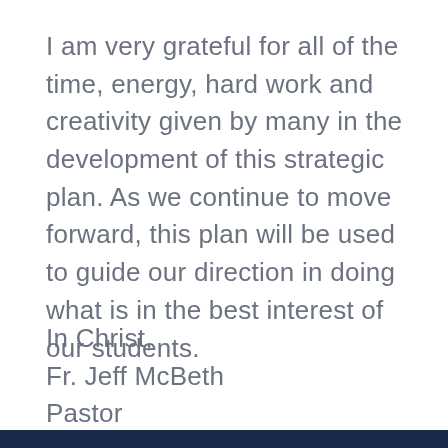I am very grateful for all of the time, energy, hard work and creativity given by many in the development of this strategic plan. As we continue to move forward, this plan will be used to guide our direction in doing what is in the best interest of our students.
In Christ,
Fr. Jeff McBeth
Pastor